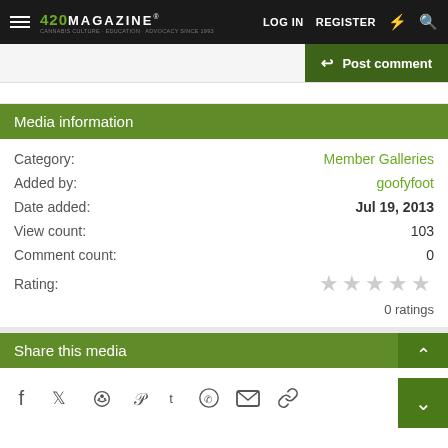420 MAGAZINE — LOG IN  REGISTER
Post comment
Media information
| Field | Value |
| --- | --- |
| Category: | Member Galleries |
| Added by: | goofyfoot |
| Date added: | Jul 19, 2013 |
| View count: | 103 |
| Comment count: | 0 |
| Rating: | ★★★★★ (empty) — 0 ratings |
Share this media
[Figure (other): Social share icons: Facebook, Twitter, Reddit, Pinterest, Tumblr, WhatsApp, Email, Link]